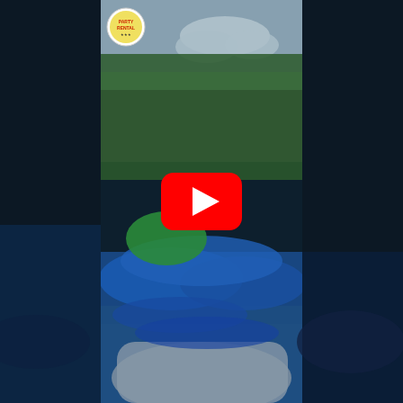[Figure (screenshot): A video thumbnail screenshot showing a close-up of a blue, green, and silver inflatable bounce house/water slide in an outdoor park setting with trees and green grass in the background. The image has blurred/darkened side panels on left and right creating a letterbox effect. A large YouTube-style red play button with a white triangle is centered over the image. A small circular logo appears in the top-left corner of the center panel.]